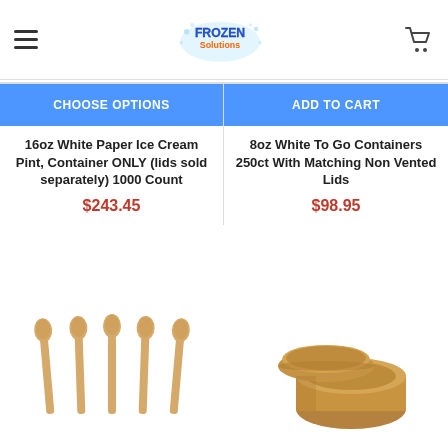[Figure (logo): Frozen Solutions logo with colorful text and icy design]
CHOOSE OPTIONS
ADD TO CART
16oz White Paper Ice Cream Pint, Container ONLY (lids sold separately) 1000 Count
$243.45
8oz White To Go Containers 250ct With Matching Non Vented Lids
$98.95
[Figure (photo): Five wooden ice cream spoons arranged in a row]
[Figure (photo): Kraft brown paper food container with matching lid]